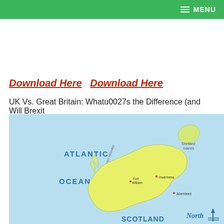MENU
Download Here   Download Here
UK Vs. Great Britain: Whatu0027s the Difference (and Will Brexit
[Figure (map): Map showing the UK and Great Britain, including Scotland with labeled regions: Shetland Islands, Orkney Islands, Atlantic Ocean, Outer Hebrides, Inner Hebrides, Fort William, Inverness, Aberdeen, Scotland. Compass rose with 'North' label at bottom right.]